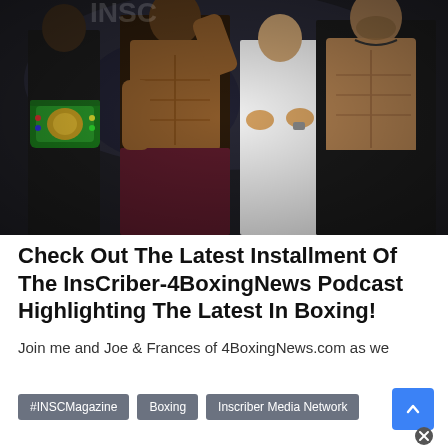[Figure (photo): Two shirtless male boxers posing at a weigh-in event. The left boxer holds a green WBC championship belt. A third person in a white t-shirt stands in the background clapping. Dark arena backdrop.]
Check Out The Latest Installment Of The InsCriber-4BoxingNews Podcast Highlighting The Latest In Boxing!
Join me and Joe & Frances of 4BoxingNews.com as we
#INSCMagazine
Boxing
Inscriber Media Network